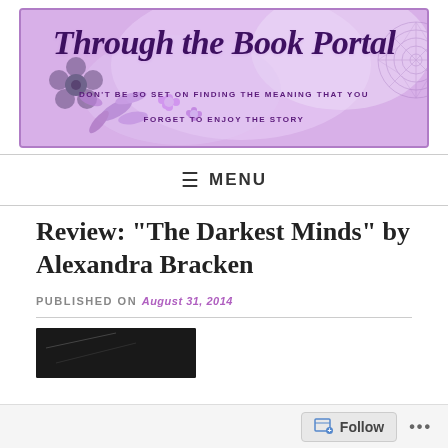[Figure (logo): Through the Book Portal blog banner with purple/lavender background, decorative flowers and mandala, cursive script title and tagline]
≡ MENU
Review: "The Darkest Minds" by Alexandra Bracken
PUBLISHED ON August 31, 2014
[Figure (photo): Partial book cover image, dark/black tones, partially visible at bottom of page]